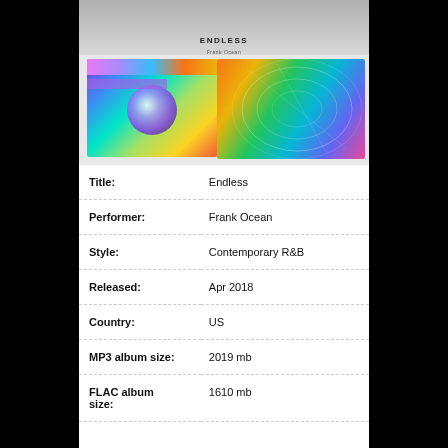[Figure (photo): Album cover art for 'Endless' by Frank Ocean, showing a colorful rainbow holographic image with 'ENDLESS' text and artist name visible at the top.]
| Field | Value |
| --- | --- |
| Title: | Endless |
| Performer: | Frank Ocean |
| Style: | Contemporary R&B |
| Released: | Apr 2018 |
| Country: | US |
| MP3 album size: | 2019 mb |
| FLAC album size: | 1610 mb |